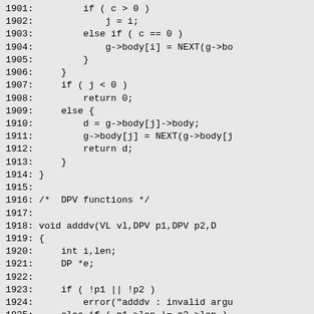Source code listing lines 1901-1931 (C programming language)